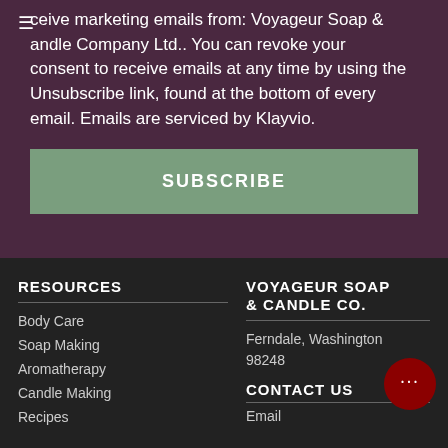ceive marketing emails from: Voyageur Soap & andle Company Ltd.. You can revoke your consent to receive emails at any time by using the Unsubscribe link, found at the bottom of every email. Emails are serviced by Klayvio.
SUBSCRIBE
RESOURCES
Body Care
Soap Making
Aromatherapy
Candle Making
Recipes
VOYAGEUR SOAP & CANDLE CO.
Ferndale, Washington 98248
CONTACT US
Email